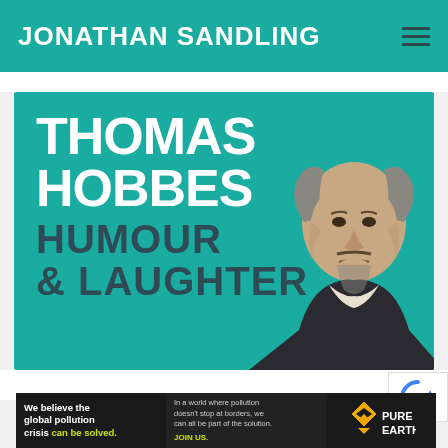JONATHAN SANDLING
[Figure (illustration): Book/article cover image on teal background featuring the text 'THOMAS HOBBES HUMOUR & LAUGHTER' with a portrait illustration of Thomas Hobbes on the right side]
[Figure (logo): Pure Earth charity advertisement banner: 'We believe the global pollution crisis can be solved. In a world where pollution doesn't stop at borders, we can all be part of the solution. JOIN US.' with Pure Earth logo]
[Figure (logo): reCAPTCHA badge icon (partial, bottom right corner)]